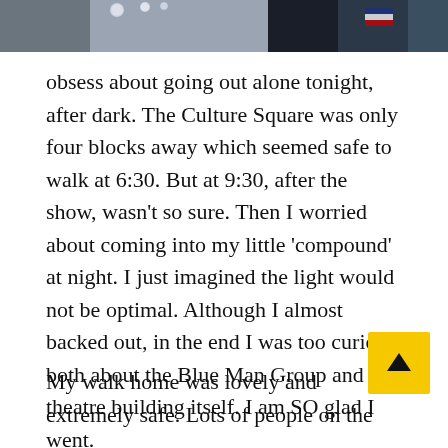[Figure (photo): Partial photo strip at top of page showing people at an event, with lights visible in the background]
obsess about going out alone tonight, after dark. The Culture Square was only four blocks away which seemed safe to walk at 6:30. But at 9:30, after the show, wasn't so sure. Then I worried about coming into my little 'compound' at night. I just imagined the light would not be optimal. Although I almost backed out, in the end I was too curious both about the Blue Man Group and the theatre building itself. I am SO glad I went.
My walk home was lovely and extremely safe. Lots of people on the